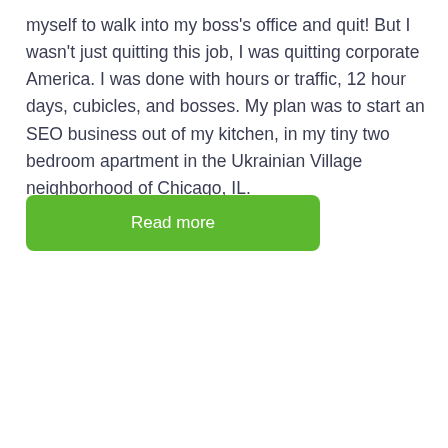myself to walk into my boss's office and quit! But I wasn't just quitting this job, I was quitting corporate America. I was done with hours or traffic, 12 hour days, cubicles, and bosses. My plan was to start an SEO business out of my kitchen, in my tiny two bedroom apartment in the Ukrainian Village neighborhood of Chicago, IL.
Read more